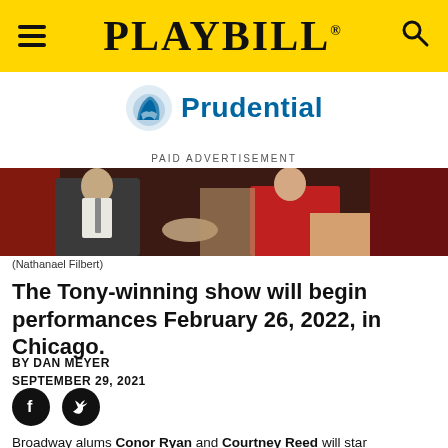PLAYBILL
[Figure (logo): Prudential logo with blue rock/book icon and blue text 'Prudential']
PAID ADVERTISEMENT
[Figure (photo): Two people seated side by side; person on left in grey suit, person on right in red dress, holding hands]
(Nathanael Filbert)
The Tony-winning show will begin performances February 26, 2022, in Chicago.
BY DAN MEYER
SEPTEMBER 29, 2021
[Figure (illustration): Facebook and Twitter social share icons]
Broadway alums Conor Ryan and Courtney Reed will star